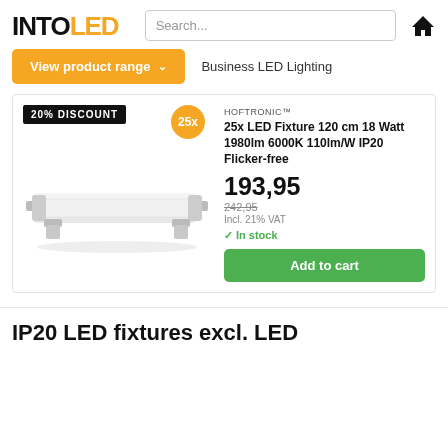[Figure (logo): INTOLED logo with INTO in black bold and LED in orange bold]
Search...
[Figure (illustration): Home icon (house symbol)]
View product range ∨
Business LED Lighting
20% DISCOUNT
25x
[Figure (photo): LED tube fixture 120cm, white elongated light bar on dark background]
HOFTRONIC™
25x LED Fixture 120 cm 18 Watt 1980lm 6000K 110lm/W IP20 Flicker-free
193,95
242,95
Incl. 21% VAT
✓ In stock
Add to cart
IP20 LED fixtures excl. LED